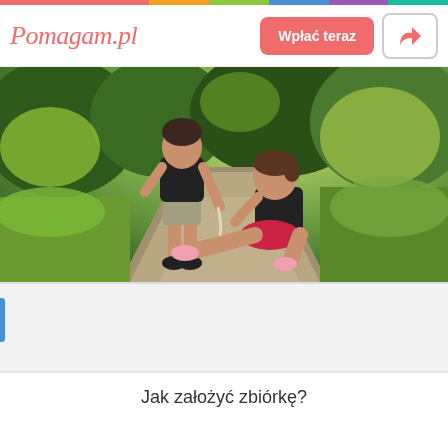Pomagam.pl
[Figure (photo): Two children on a dirt path in a park/forest setting. One child standing in black shirt and shorts pouring something into hands of another child sitting on the ground wearing black shirt and pink/red shorts with pink socks.]
Jak założyć zbiórkę?